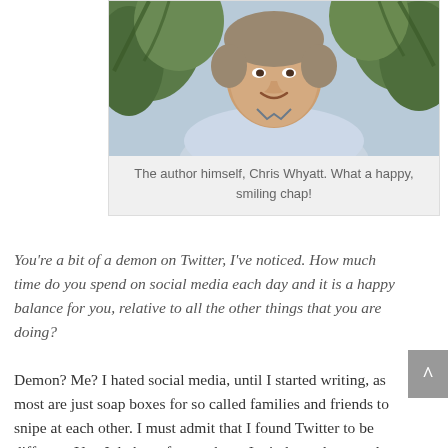[Figure (photo): Photo of the author Chris Whyatt, a man in a light blue shirt with a collar, standing in front of greenery/palm trees, smiling.]
The author himself, Chris Whyatt. What a happy, smiling chap!
You're a bit of a demon on Twitter, I've noticed. How much time do you spend on social media each day and it is a happy balance for you, relative to all the other things that you are doing?
Demon? Me? I hated social media, until I started writing, as most are just soap boxes for so called families and friends to snipe at each other. I must admit that I found Twitter to be different. Yes, I do have fun on there, I wind people up and hopefully